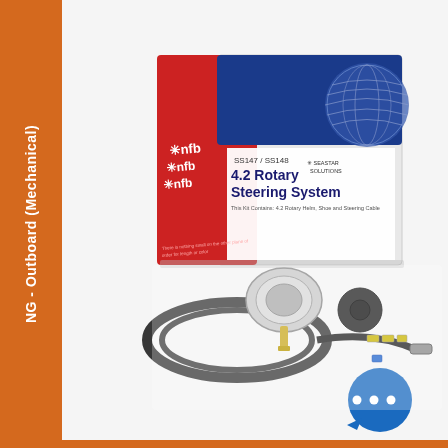NG - Outboard (Mechanical)
[Figure (photo): NFB 4.2 Rotary Steering System (SS147/SS148) product kit photo showing the red and blue product box labeled 'nfb 4.2 Rotary Steering System' by Seastar Solutions, along with the kit contents: a rotary helm unit, steering cable (black coiled cable), bushing/grommet, and hardware. A blue speech bubble chat icon appears in the bottom right of the image.]